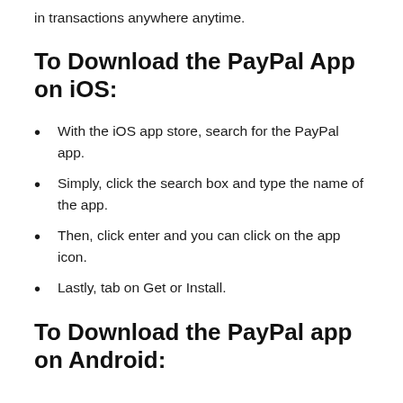in transactions anywhere anytime.
To Download the PayPal App on iOS:
With the iOS app store, search for the PayPal app.
Simply, click the search box and type the name of the app.
Then, click enter and you can click on the app icon.
Lastly, tab on Get or Install.
To Download the PayPal app on Android: